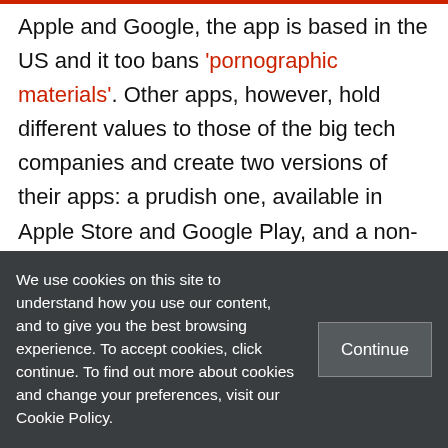Apple and Google, the app is based in the US and it too bans 'pornographic materials'. Other apps, however, hold different values to those of the big tech companies and create two versions of their apps: a prudish one, available in Apple Store and Google Play, and a non-prudish one, available directly from their servers (only for Android). Examples include Amsterdam-based PlanetRomeo, which apart from their standard app has also
We use cookies on this site to understand how you use our content, and to give you the best browsing experience. To accept cookies, click continue. To find out more about cookies and change your preferences, visit our Cookie Policy.